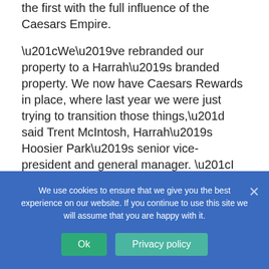the first with the full influence of the Caesars Empire.
“We’ve rebranded our property to a Harrah’s branded property. We now have Caesars Rewards in place, where last year we were just trying to transition those things,” said Trent McIntosh, Harrah’s Hoosier Park’s senior vice-president and general manager. “I think you’ll now get the new look and feel of the product when you walk onto the property. You’ll get the full Caesars Rewards program, just as any other property within Caesars Entertainment and the
We use cookies to ensure that we give you the best experience on our website. If you continue to use this site we will assume that you are happy with it.